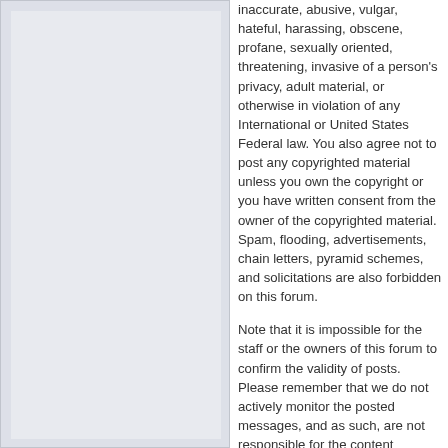inaccurate, abusive, vulgar, hateful, harassing, obscene, profane, sexually oriented, threatening, invasive of a person's privacy, adult material, or otherwise in violation of any International or United States Federal law. You also agree not to post any copyrighted material unless you own the copyright or you have written consent from the owner of the copyrighted material. Spam, flooding, advertisements, chain letters, pyramid schemes, and solicitations are also forbidden on this forum.
Note that it is impossible for the staff or the owners of this forum to confirm the validity of posts. Please remember that we do not actively monitor the posted messages, and as such, are not responsible for the content contained within. We do not warrant the accuracy, completeness, or usefulness of any information presented. The